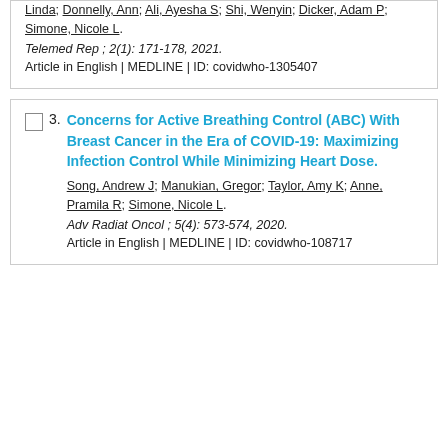Linda; Donnelly, Ann; Ali, Ayesha S; Shi, Wenyin; Dicker, Adam P; Simone, Nicole L.
Telemed Rep ; 2(1): 171-178, 2021.
Article in English | MEDLINE | ID: covidwho-1305407
Concerns for Active Breathing Control (ABC) With Breast Cancer in the Era of COVID-19: Maximizing Infection Control While Minimizing Heart Dose.
Song, Andrew J; Manukian, Gregor; Taylor, Amy K; Anne, Pramila R; Simone, Nicole L.
Adv Radiat Oncol ; 5(4): 573-574, 2020.
Article in English | MEDLINE | ID: covidwho-108717